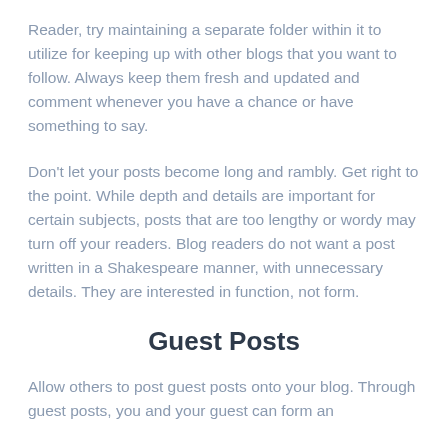Reader, try maintaining a separate folder within it to utilize for keeping up with other blogs that you want to follow. Always keep them fresh and updated and comment whenever you have a chance or have something to say.
Don't let your posts become long and rambly. Get right to the point. While depth and details are important for certain subjects, posts that are too lengthy or wordy may turn off your readers. Blog readers do not want a post written in a Shakespeare manner, with unnecessary details. They are interested in function, not form.
Guest Posts
Allow others to post guest posts onto your blog. Through guest posts, you and your guest can form an